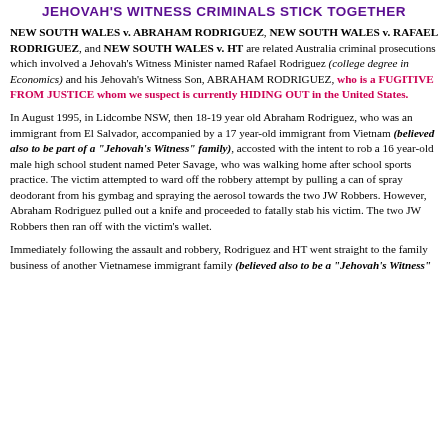JEHOVAH'S WITNESS CRIMINALS STICK TOGETHER
NEW SOUTH WALES v. ABRAHAM RODRIGUEZ, NEW SOUTH WALES v. RAFAEL RODRIGUEZ, and NEW SOUTH WALES v. HT are related Australia criminal prosecutions which involved a Jehovah's Witness Minister named Rafael Rodriguez (college degree in Economics) and his Jehovah's Witness Son, ABRAHAM RODRIGUEZ, who is a FUGITIVE FROM JUSTICE whom we suspect is currently HIDING OUT in the United States.
In August 1995, in Lidcombe NSW, then 18-19 year old Abraham Rodriguez, who was an immigrant from El Salvador, accompanied by a 17 year-old immigrant from Vietnam (believed also to be part of a "Jehovah's Witness" family), accosted with the intent to rob a 16 year-old male high school student named Peter Savage, who was walking home after school sports practice. The victim attempted to ward off the robbery attempt by pulling a can of spray deodorant from his gymbag and spraying the aerosol towards the two JW Robbers. However, Abraham Rodriguez pulled out a knife and proceeded to fatally stab his victim. The two JW Robbers then ran off with the victim's wallet.
Immediately following the assault and robbery, Rodriguez and HT went straight to the family business of another Vietnamese immigrant family (believed also to be a "Jehovah's Witness"